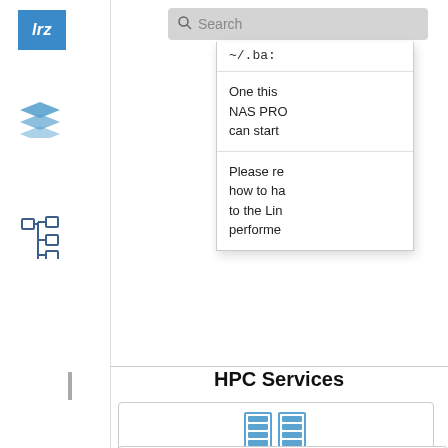[Figure (logo): LRZ logo - blue square with white text 'lrz']
[Figure (illustration): Layers/stack icon in blue]
[Figure (illustration): Tree/hierarchy icon in dark blue]
[Figure (screenshot): Search bar with magnifying glass icon and placeholder text 'Search']
~/.ba:
One this NAS PRO can start
Please re how to ha to the Lin performe
HPC Services
[Figure (illustration): Server rack icon in blue for SuperMUC-NG]
SuperMUC-NG
[Figure (illustration): Partial server rack icon visible at bottom of page]